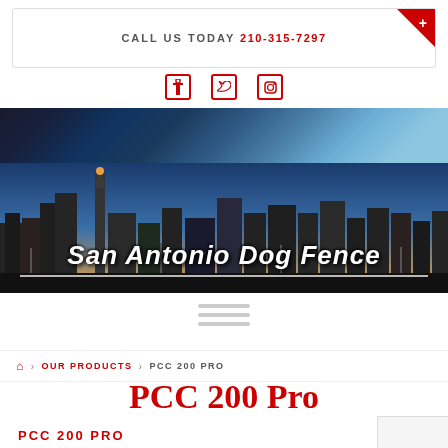CALL US TODAY 210-315-7297
[Figure (screenshot): Social media icons (Facebook, Twitter, other) in red outline style]
[Figure (photo): San Antonio cityscape/skyline banner image with text overlay 'San Antonio Dog Fence']
[Figure (infographic): Hamburger/navigation menu icon with three horizontal grey lines]
HOME > OUR PRODUCTS > PCC 200 PRO
PCC 200 Pro
PCC 200 PRO